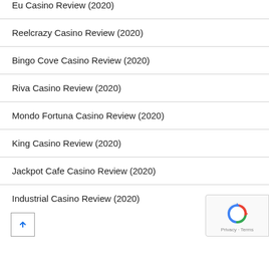Eu Casino Review (2020)
Reelcrazy Casino Review (2020)
Bingo Cove Casino Review (2020)
Riva Casino Review (2020)
Mondo Fortuna Casino Review (2020)
King Casino Review (2020)
Jackpot Cafe Casino Review (2020)
Industrial Casino Review (2020)